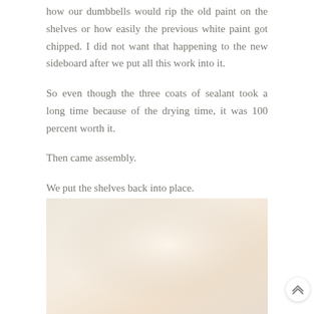how our dumbbells would rip the old paint on the shelves or how easily the previous white paint got chipped. I did not want that happening to the new sideboard after we put all this work into it.
So even though the three coats of sealant took a long time because of the drying time, it was 100 percent worth it.
Then came assembly.
We put the shelves back into place.
[Figure (photo): A partial view of a light-colored, warm beige/cream painted surface — likely a shelf or sideboard — with soft gradient lighting.]